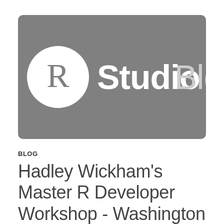[Figure (logo): RStudio Blog logo: grey rounded rectangle background with a white circle containing the letter R in serif font on the left, followed by the text 'Studio Blog' in light grey sans-serif font on the right.]
BLOG
Hadley Wickham's Master R Developer Workshop - Washington DC registration is